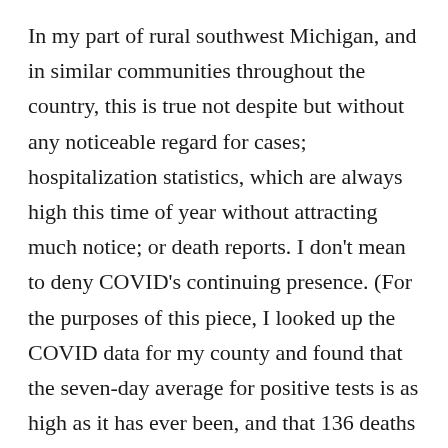In my part of rural southwest Michigan, and in similar communities throughout the country, this is true not despite but without any noticeable regard for cases; hospitalization statistics, which are always high this time of year without attracting much notice; or death reports. I don't mean to deny COVID's continuing presence. (For the purposes of this piece, I looked up the COVID data for my county and found that the seven-day average for positive tests is as high as it has ever been, and that 136 deaths have been attributed to the virus since June 2020.) What I wish to convey is that the virus simply does not factor into my calculations or those of my neighbors, who have been forgoing masks,